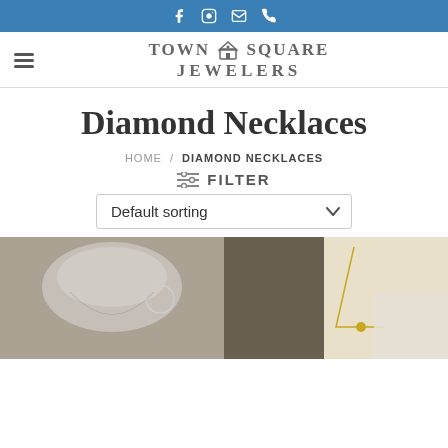Social icons: Facebook, Instagram, Email, Phone
[Figure (logo): Town Square Jewelers logo with hamburger menu icon]
Diamond Necklaces
HOME / DIAMOND NECKLACES
≡ FILTER
Default sorting
[Figure (photo): Two product photos of diamond necklaces on display busts]